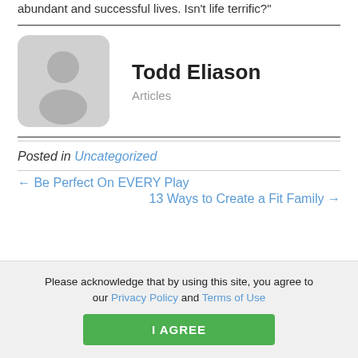abundant and successful lives. Isn't life terrific?"
Todd Eliason
Articles
Posted in Uncategorized
← Be Perfect On EVERY Play
13 Ways to Create a Fit Family →
Please acknowledge that by using this site, you agree to our Privacy Policy and Terms of Use
I AGREE